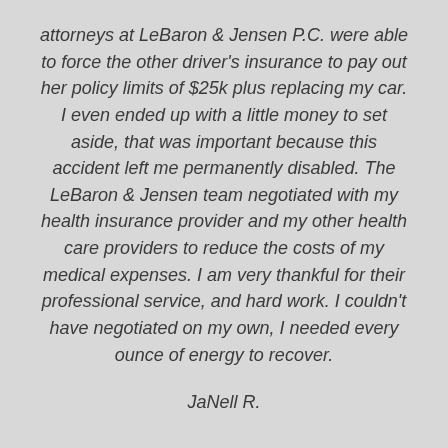attorneys at LeBaron & Jensen P.C. were able to force the other driver's insurance to pay out her policy limits of $25k plus replacing my car. I even ended up with a little money to set aside, that was important because this accident left me permanently disabled. The LeBaron & Jensen team negotiated with my health insurance provider and my other health care providers to reduce the costs of my medical expenses. I am very thankful for their professional service, and hard work. I couldn't have negotiated on my own, I needed every ounce of energy to recover.
JaNell R.